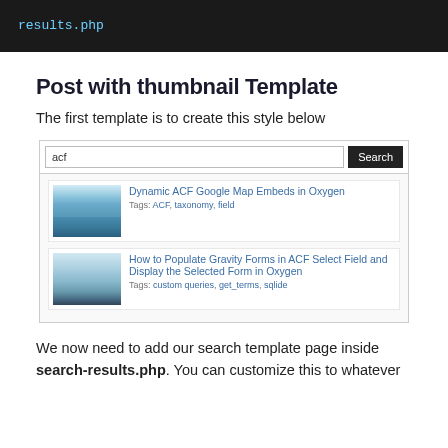[Figure (screenshot): Dark code editor block showing 'results.php' in cyan monospace text on dark background]
Post with thumbnail Template
The first template is to create this style below
[Figure (screenshot): Screenshot of a WordPress search results page showing search bar with 'acf' query and two post results with thumbnails, titles, and tags]
We now need to add our search template page inside search-results.php. You can customize this to whatever